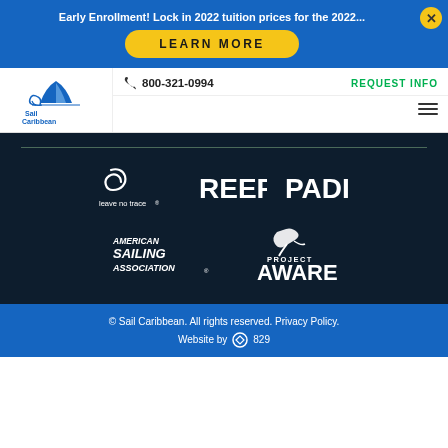Early Enrollment! Lock in 2022 tuition prices for the 2022...
LEARN MORE
[Figure (logo): Sail Caribbean logo — sailboat with swirls and text 'Sail Caribbean']
800-321-0994
REQUEST INFO
[Figure (logo): leave no trace spiral logo with text 'leave no trace']
[Figure (logo): REEF logo in white bold letters]
[Figure (logo): PADI logo in white bold letters]
[Figure (logo): American Sailing Association logo in white text]
[Figure (logo): Project AWARE logo in white with diver silhouette]
© Sail Caribbean. All rights reserved. Privacy Policy. Website by 829